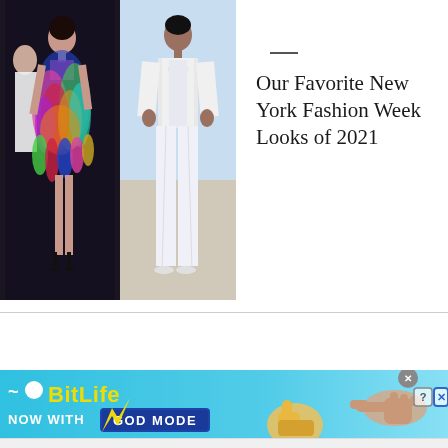[Figure (photo): Two fashion runway photos side by side. Left: model in colorful feathered/floral dress walking on dark runway. Right: model in all-white pantsuit walking outdoors.]
Our Favorite New York Fashion Week Looks of 2021
[Figure (photo): BitLife mobile game advertisement banner with cyan/blue background. Text reads 'BitLife NOW WITH GOD MODE' with lightning bolt graphic, thumbs up emoji, and pointing hand illustration. Close button and ? X buttons in top right corner.]